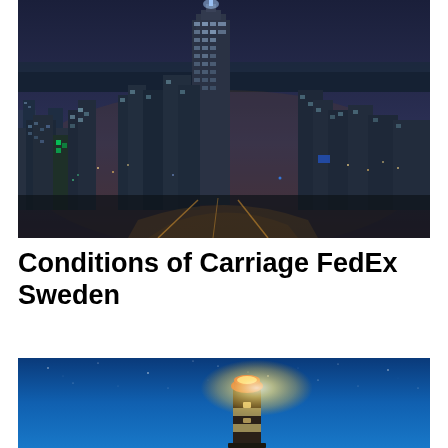[Figure (photo): Aerial night view of a city skyline with a prominent tall skyscraper in the center, surrounded by lit buildings, streets, and a coastline in the background under a dark blue sky.]
Conditions of Carriage FedEx Sweden
[Figure (photo): A lighthouse with a glowing light against a deep blue night sky with faint stars visible.]